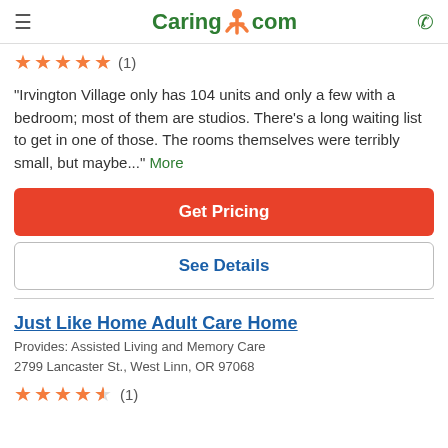Caring.com
★★★★★ (1)
"Irvington Village only has 104 units and only a few with a bedroom; most of them are studios. There's a long waiting list to get in one of those. The rooms themselves were terribly small, but maybe..." More
Get Pricing
See Details
Just Like Home Adult Care Home
Provides: Assisted Living and Memory Care
2799 Lancaster St., West Linn, OR 97068
★★★★☆ (1)